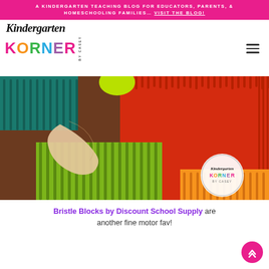A KINDERGARTEN TEACHING BLOG FOR EDUCATORS, PARENTS, & HOMESCHOOLING FAMILIES… VISIT THE BLOG!
[Figure (logo): Kindergarten Korner by Casey logo with colorful lettering]
[Figure (photo): Close-up photo of colorful bristle blocks (green, red, orange) being manipulated by a child's hand, with Kindergarten Korner watermark in lower right]
Bristle Blocks by Discount School Supply are another fine motor fav!